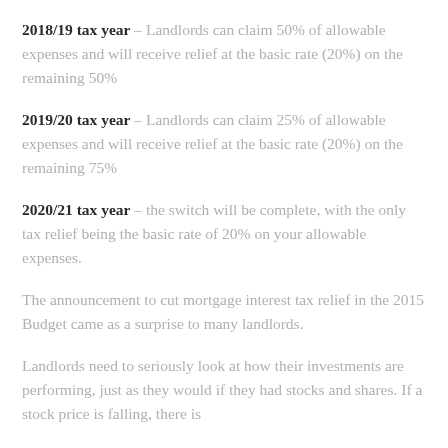2018/19 tax year – Landlords can claim 50% of allowable expenses and will receive relief at the basic rate (20%) on the remaining 50%
2019/20 tax year – Landlords can claim 25% of allowable expenses and will receive relief at the basic rate (20%) on the remaining 75%
2020/21 tax year – the switch will be complete, with the only tax relief being the basic rate of 20% on your allowable expenses.
The announcement to cut mortgage interest tax relief in the 2015 Budget came as a surprise to many landlords.
Landlords need to seriously look at how their investments are performing, just as they would if they had stocks and shares. If a stock price is falling, there is